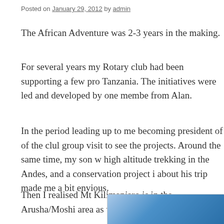Posted on January 29, 2012 by admin
The African Adventure was 2-3 years in the making.
For several years my Rotary club had been supporting a few pro Tanzania. The initiatives were led and developed by one membe from Alan.
In the period leading up to me becoming president of of the clul group visit to see the projects. Around the same time, my son w high altitude trekking in the Andes, and a conservation project i about his trip made me a bit envious.
Then I realised Mt Kilimanjaro is in the Arusha/Moshi area as w
[Figure (photo): Partial blue gradient image, possibly a sky or scenic photo, cropped at the bottom of the page]